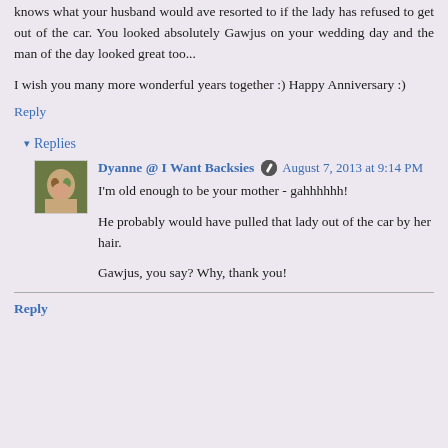knows what your husband would ave resorted to if the lady has refused to get out of the car. You looked absolutely Gawjus on your wedding day and the man of the day looked great too...
I wish you many more wonderful years together :) Happy Anniversary :)
Reply
Replies
Dyanne @ I Want Backsies  August 7, 2013 at 9:14 PM
I'm old enough to be your mother - gahhhhhh!
He probably would have pulled that lady out of the car by her hair.
Gawjus, you say? Why, thank you!
Reply